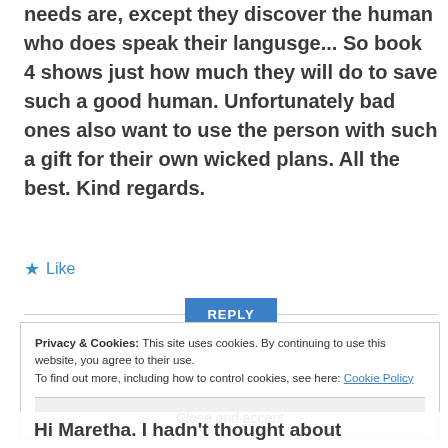needs are, except they discover the human who does speak their langusge... So book 4 shows just how much they will do to save such a good human. Unfortunately bad ones also want to use the person with such a gift for their own wicked plans. All the best. Kind regards.
Like
REPLY
Privacy & Cookies: This site uses cookies. By continuing to use this website, you agree to their use.
To find out more, including how to control cookies, see here: Cookie Policy
Close and accept
Hi Maretha. I hadn't thought about